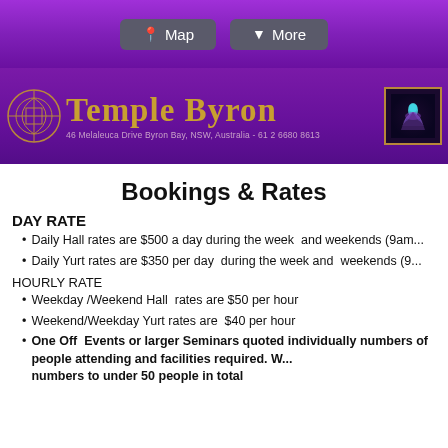Map | More
[Figure (logo): Temple Byron logo with golden serif text and circular emblem, address: 46 Melaleuca Drive Byron Bay, NSW, Australia - 61 2 6680 8613]
Bookings & Rates
DAY RATE
Daily Hall rates are $500 a day during the week  and weekends (9am...
Daily Yurt rates are $350 per day  during the week and  weekends (9...
HOURLY RATE
Weekday /Weekend Hall  rates are $50 per hour
Weekend/Weekday Yurt rates are  $40 per hour
One Off  Events or larger Seminars quoted individually numbers of people attending and facilities required. W... numbers to under 50 people in total